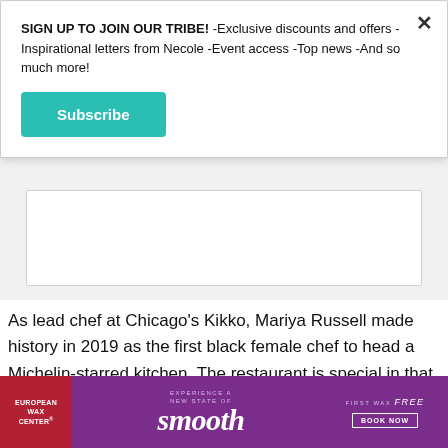SIGN UP TO JOIN OUR TRIBE! -Exclusive discounts and offers -Inspirational letters from Necole -Event access -Top news -And so much more!
Subscribe
[Figure (other): Empty white/gray box placeholder]
As lead chef at Chicago's Kikko, Mariya Russell made history in 2019 as the first black female chef to head a Michelin-starred kitchen. The restaurant is special in that it's an omakase, a Japanese concept
[Figure (other): European Wax Center advertisement banner: 'EXPERIENCE A NEW STATE OF smooth FIRST WAX free BOOK NOW']